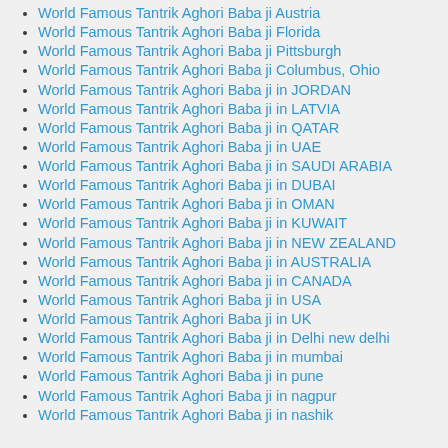World Famous Tantrik Aghori Baba ji Austria
World Famous Tantrik Aghori Baba ji Florida
World Famous Tantrik Aghori Baba ji Pittsburgh
World Famous Tantrik Aghori Baba ji Columbus, Ohio
World Famous Tantrik Aghori Baba ji in JORDAN
World Famous Tantrik Aghori Baba ji in LATVIA
World Famous Tantrik Aghori Baba ji in QATAR
World Famous Tantrik Aghori Baba ji in UAE
World Famous Tantrik Aghori Baba ji in SAUDI ARABIA
World Famous Tantrik Aghori Baba ji in DUBAI
World Famous Tantrik Aghori Baba ji in OMAN
World Famous Tantrik Aghori Baba ji in KUWAIT
World Famous Tantrik Aghori Baba ji in NEW ZEALAND
World Famous Tantrik Aghori Baba ji in AUSTRALIA
World Famous Tantrik Aghori Baba ji in CANADA
World Famous Tantrik Aghori Baba ji in USA
World Famous Tantrik Aghori Baba ji in UK
World Famous Tantrik Aghori Baba ji in Delhi new delhi
World Famous Tantrik Aghori Baba ji in mumbai
World Famous Tantrik Aghori Baba ji in pune
World Famous Tantrik Aghori Baba ji in nagpur
World Famous Tantrik Aghori Baba ji in nashik